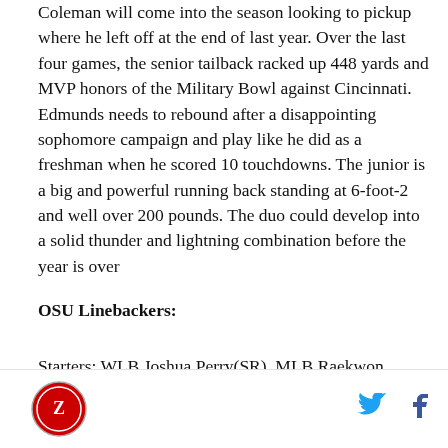Coleman will come into the season looking to pickup where he left off at the end of last year. Over the last four games, the senior tailback racked up 448 yards and MVP honors of the Military Bowl against Cincinnati. Edmunds needs to rebound after a disappointing sophomore campaign and play like he did as a freshman when he scored 10 touchdowns. The junior is a big and powerful running back standing at 6-foot-2 and well over 200 pounds. The duo could develop into a solid thunder and lightning combination before the year is over
OSU Linebackers:
Starters: WLB Joshua Perry(SR), MLB Raekwon McMillan(SO), OLB Ryan Lange(RS-SO)...
[Figure (logo): Circular red logo with mascot icon]